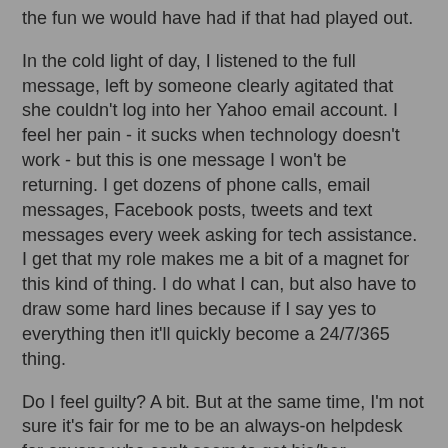the fun we would have had if that had played out.
In the cold light of day, I listened to the full message, left by someone clearly agitated that she couldn't log into her Yahoo email account. I feel her pain - it sucks when technology doesn't work - but this is one message I won't be returning. I get dozens of phone calls, email messages, Facebook posts, tweets and text messages every week asking for tech assistance. I get that my role makes me a bit of a magnet for this kind of thing. I do what I can, but also have to draw some hard lines because if I say yes to everything then it'll quickly become a 24/7/365 thing.
Do I feel guilty? A bit. But at the same time, I'm not sure it's fair for me to be an always-on helpdesk for anyone who can't seem to get his/her technology to work.
There's a very hard line being drawn here. And a 5:49 a.m. phone call isn't going to change my mind anytime soon.
Your turn: How would you respond to a middle-of-the-night call from a stranger? Go nuts!